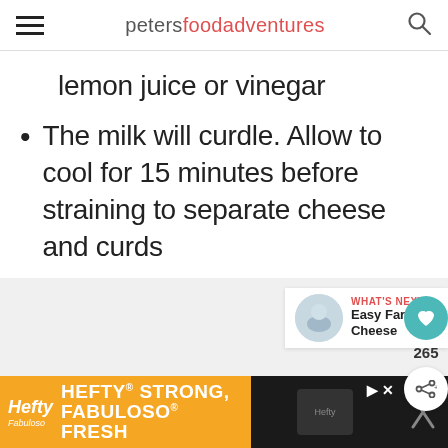petersfoodadventures
lemon juice or vinegar
The milk will curdle. Allow to cool for 15 minutes before straining to separate cheese and curds
[Figure (screenshot): What's Next panel showing Easy Farmers Cheese suggestion with thumbnail]
[Figure (screenshot): Hefty STRONG, FABULOSO FRESH advertisement banner at bottom of page]